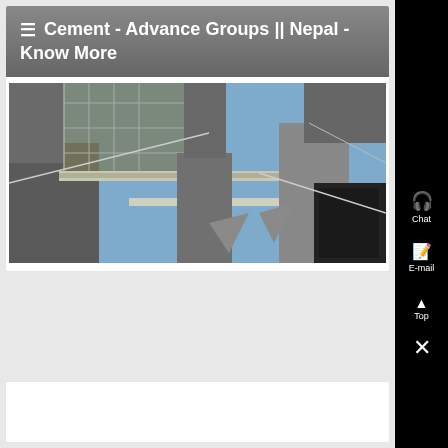≡ Cement - Advance Groups || Nepal - Know More
[Figure (photo): Upward-looking photograph of industrial cement plant structures including conveyor belts, steel girders, and machinery against a blue sky]
[Figure (other): Partial second card/section visible at bottom of page]